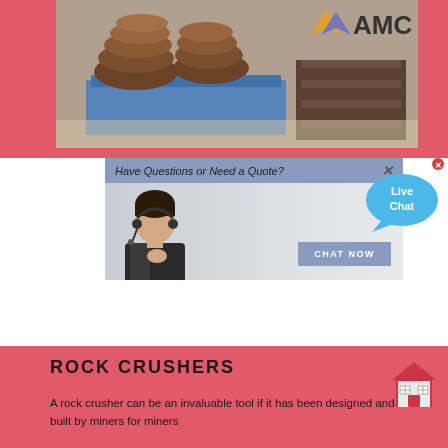[Figure (photo): Industrial machinery parts (crusher wear parts/manganese liners) stacked on blue pallets in a warehouse, with AMC company logo overlay]
[Figure (screenshot): Live chat widget popup showing 'Have Questions or Need a Quote?' header with a customer service representative photo and 'CHAT NOW' button. A 'Live Chat' speech bubble appears to the right.]
ROCK CRUSHERS
A rock crusher can be an invaluable tool if it has been designed and built by miners for miners